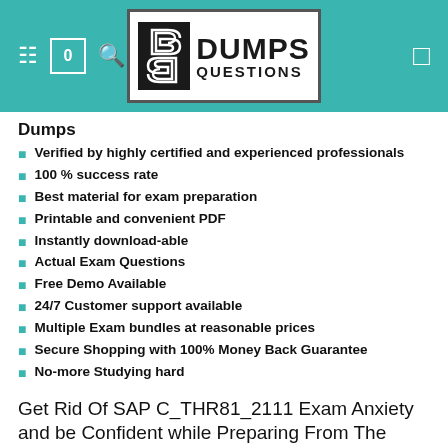[Figure (logo): DumpsQuestions logo with teal header bar, cart icon showing 0, search icon, and menu icon]
Dumps
Verified by highly certified and experienced professionals
100 % success rate
Best material for exam preparation
Printable and convenient PDF
Instantly download-able
Actual Exam Questions
Free Demo Available
24/7 Customer support available
Multiple Exam bundles at reasonable prices
Secure Shopping with 100% Money Back Guarantee
No-more Studying hard
Get Rid Of SAP C_THR81_2111 Exam Anxiety and be Confident while Preparing From The Material We Provide You
Preparation of the SAP C_THR81_2111 takes too much time if you prepare from the material recommended by SAP